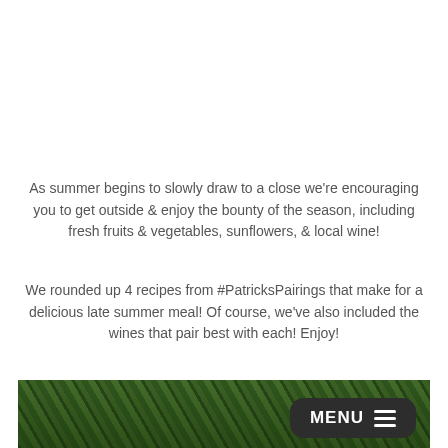As summer begins to slowly draw to a close we're encouraging you to get outside & enjoy the bounty of the season, including fresh fruits & vegetables, sunflowers, & local wine!
We rounded up 4 recipes from #PatricksPairings that make for a delicious late summer meal! Of course, we've also included the wines that pair best with each! Enjoy!
[Figure (photo): Green leafy plants/herbs photo strip at bottom of page]